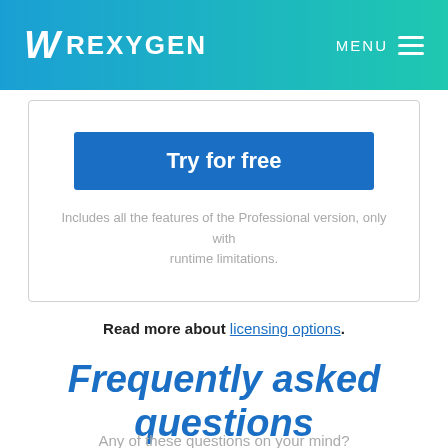W REXYGEN   MENU
Try for free
Includes all the features of the Professional version, only with runtime limitations.
Read more about licensing options.
Frequently asked questions
Any of these questions on your mind?